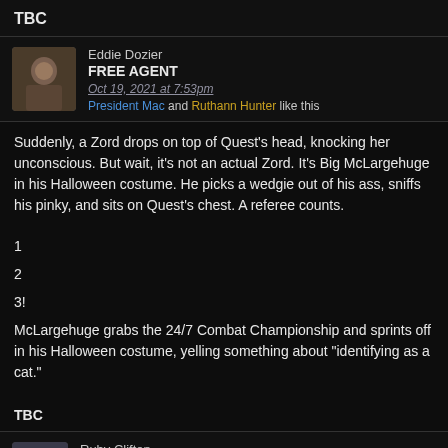TBC
Eddie Dozier
FREE AGENT
Oct 19, 2021 at 7:53pm
President Mac and Ruthann Hunter like this
Suddenly, a Zord drops on top of Quest's head, knocking her unconscious. But wait, it's not an actual Zord. It's Big McLargehuge in his Halloween costume. He picks a wedgie out of his ass, sniffs his pinky, and sits on Quest's chest. A referee counts.
1
2
3!
McLargehuge grabs the 24/7 Combat Championship and sprints off in his Halloween costume, yelling something about "identifying as a cat."
TBC
Ruby Clifton
FREE AGENT